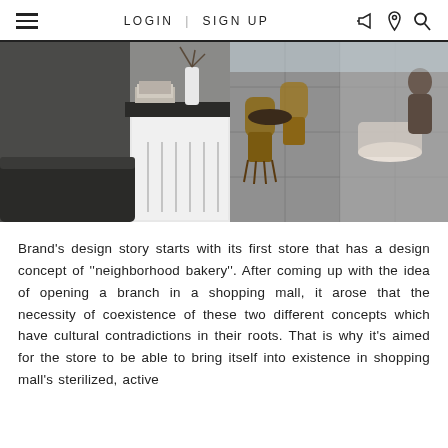LOGIN | SIGN UP
[Figure (photo): Interior photo of a modern cafe/bakery with rattan chairs, dark tile floors, white storage cabinets, and patrons seated at round tables near large windows.]
Brand's design story starts with its first store that has a design concept of ''neighborhood bakery''. After coming up with the idea of opening a branch in a shopping mall, it arose that the necessity of coexistence of these two different concepts which have cultural contradictions in their roots. That is why it's aimed for the store to be able to bring itself into existence in shopping mall's sterilized, active